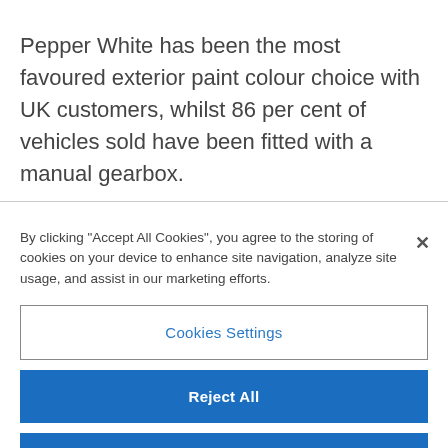Pepper White has been the most favoured exterior paint colour choice with UK customers, whilst 86 per cent of vehicles sold have been fitted with a manual gearbox.
By clicking "Accept All Cookies", you agree to the storing of cookies on your device to enhance site navigation, analyze site usage, and assist in our marketing efforts.
Cookies Settings
Reject All
Accept All Cookies